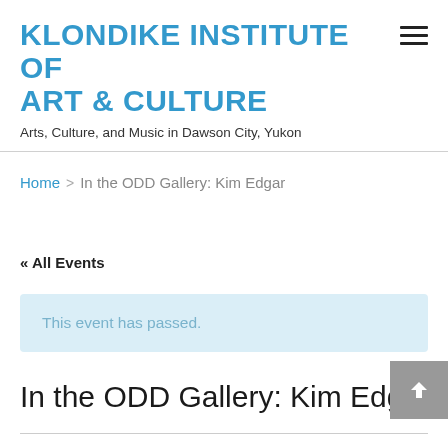KLONDIKE INSTITUTE OF ART & CULTURE
Arts, Culture, and Music in Dawson City, Yukon
Home > In the ODD Gallery: Kim Edgar
« All Events
This event has passed.
In the ODD Gallery: Kim Edgar